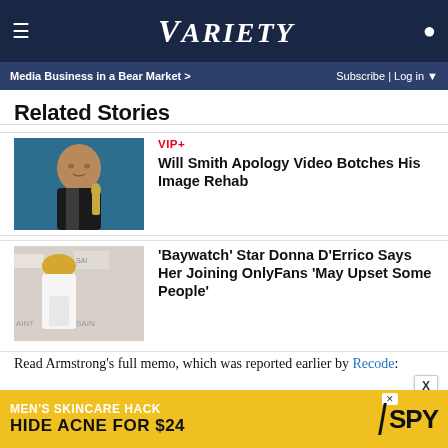VARIETY — Media Business in a Bear Market > | Subscribe | Log in
Related Stories
[Figure (photo): Will Smith holding an Oscar award, teal background]
VIP+
Will Smith Apology Video Botches His Image Rehab
[Figure (photo): Woman in white outfit at event, signage in background]
'Baywatch' Star Donna D'Errico Says Her Joining OnlyFans 'May Upset Some People'
Read Armstrong's full memo, which was reported earlier by Recode:
From: Tim Armstrong